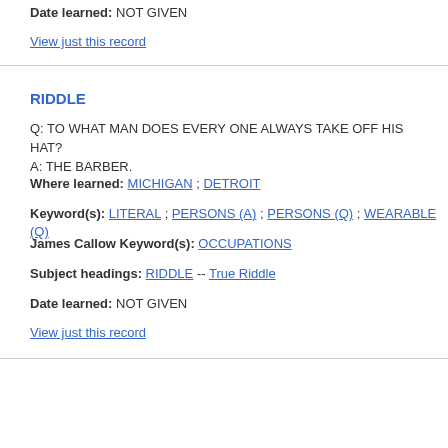Date learned: NOT GIVEN
View just this record
RIDDLE
Q: TO WHAT MAN DOES EVERY ONE ALWAYS TAKE OFF HIS HAT?
A: THE BARBER.
Where learned: MICHIGAN ; DETROIT
Keyword(s): LITERAL ; PERSONS (A) ; PERSONS (Q) ; WEARABLE (Q)
James Callow Keyword(s): OCCUPATIONS
Subject headings: RIDDLE -- True Riddle
Date learned: NOT GIVEN
View just this record